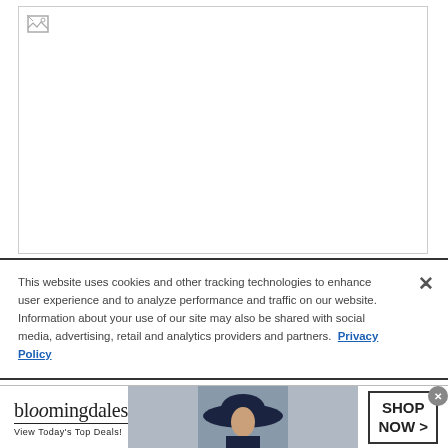[Figure (photo): Broken/unloaded image placeholder with small broken image icon in top-left corner, bordered white rectangle]
This website uses cookies and other tracking technologies to enhance user experience and to analyze performance and traffic on our website. Information about your use of our site may also be shared with social media, advertising, retail and analytics providers and partners. Privacy Policy
[Figure (photo): Bloomingdale's advertisement banner: logo text 'bloomingdales' with underline, tagline 'View Today's Top Deals!', image of woman in dark wide-brim hat, and 'SHOP NOW >' button]